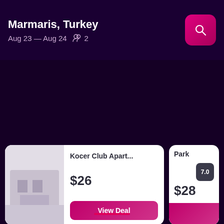Marmaris, Turkey | Aug 23 — Aug 24 | 2 guests
Kocer Club Apart... | $26 | View Deal
Park | 7.0 | $28